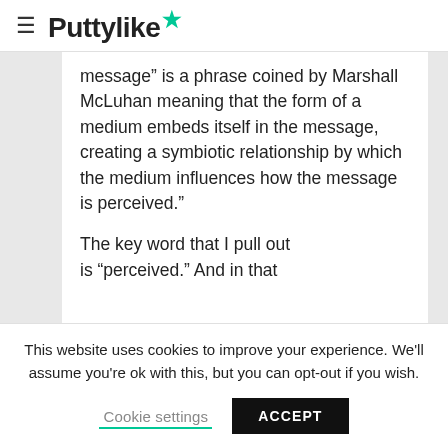≡ Puttylike★
message” is a phrase coined by Marshall McLuhan meaning that the form of a medium embeds itself in the message, creating a symbiotic relationship by which the medium influences how the message is perceived.”
The key word that I pull out is “perceived.” And in that
This website uses cookies to improve your experience. We’ll assume you’re ok with this, but you can opt-out if you wish.
Cookie settings   ACCEPT